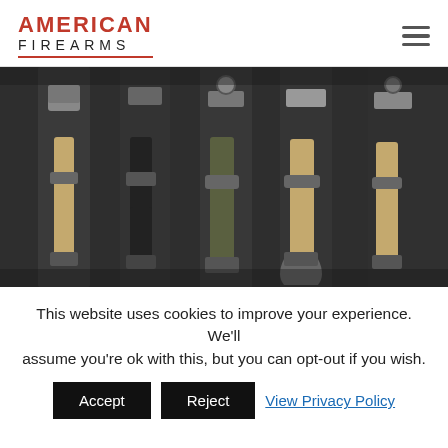AMERICAN FIREARMS
[Figure (photo): Multiple gun slings of various colors (tan/coyote, olive, black) with metal hardware and swivels arranged on a dark background]
This website uses cookies to improve your experience. We'll assume you're ok with this, but you can opt-out if you wish.
Accept | Reject | View Privacy Policy